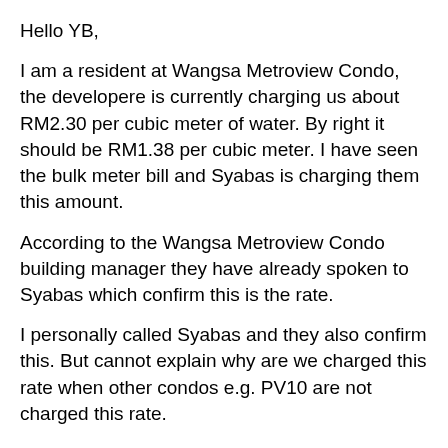Hello YB,
I am a resident at Wangsa Metroview Condo, the developere is currently charging us about RM2.30 per cubic meter of water. By right it should be RM1.38 per cubic meter. I have seen the bulk meter bill and Syabas is charging them this amount.
According to the Wangsa Metroview Condo building manager they have already spoken to Syabas which confirm this is the rate.
I personally called Syabas and they also confirm this. But cannot explain why are we charged this rate when other condos e.g. PV10 are not charged this rate.